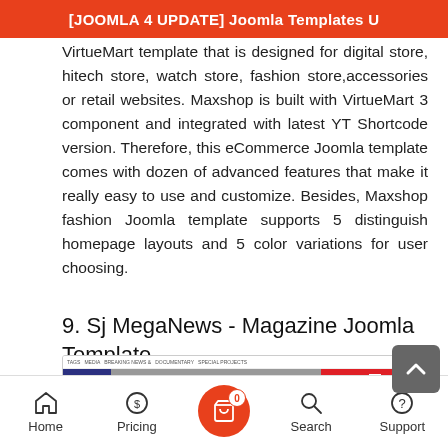[JOOMLA 4 UPDATE] Joomla Templates U
VirtueMart template that is designed for digital store, hitech store, watch store, fashion store,accessories or retail websites. Maxshop is built with VirtueMart 3 component and integrated with latest YT Shortcode version. Therefore, this eCommerce Joomla template comes with dozen of advanced features that make it really easy to use and customize. Besides, Maxshop fashion Joomla template supports 5 distinguish homepage layouts and 5 color variations for user choosing.
9. Sj MegaNews - Magazine Joomla Template
[Figure (screenshot): Screenshot of Sj MegaNews Joomla template showing a magazine-style layout with a dark blue navigation bar, MEGA logo, breaking news section, and news feed area.]
Home   Pricing   0   Search   Support